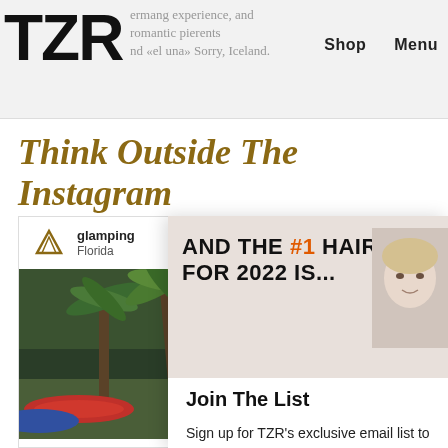TZR — experience, and romantic piercings and «el luna» Sorry, Iceland. Shop Menu
Think Outside The Instagram
[Figure (photo): Glamping card with triangle/mountain icon, label 'glamping Florida', and photo of palm trees with kayaks on grass]
[Figure (screenshot): Advertisement banner: 'AND THE #1 HAIRCUT FOR 2022 IS...' with image of blonde woman, overlaid by email sign-up modal 'Join The List' with email address field and Subscribe button]
AND THE #1 HAIRCUT FOR 2022 IS...
Join The List
Sign up for TZR's exclusive email list to uncover this season's top trends